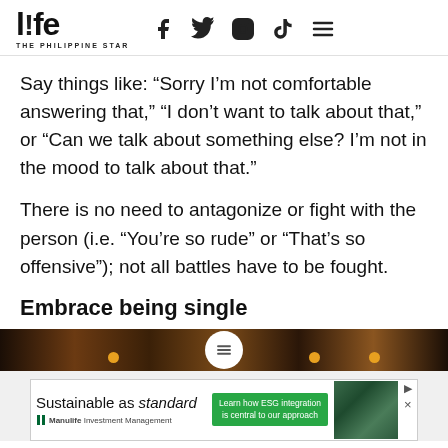life THE PHILIPPINE STAR
Say things like: “Sorry I’m not comfortable answering that,” “I don’t want to talk about that,” or “Can we talk about something else? I’m not in the mood to talk about that.”
There is no need to antagonize or fight with the person (i.e. “You’re so rude” or “That’s so offensive”); not all battles have to be fought.
Embrace being single
[Figure (photo): Dark warm-toned image strip with orange dots and a white hamburger-menu circle overlay]
[Figure (other): Advertisement: Sustainable as standard - Manulife Investment Management - Learn how ESG integration is central to our approach]